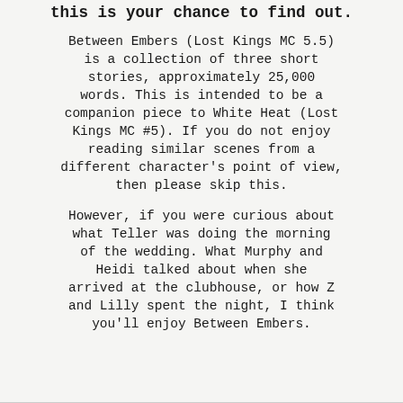this is your chance to find out.
Between Embers (Lost Kings MC 5.5) is a collection of three short stories, approximately 25,000 words. This is intended to be a companion piece to White Heat (Lost Kings MC #5). If you do not enjoy reading similar scenes from a different character's point of view, then please skip this.
However, if you were curious about what Teller was doing the morning of the wedding. What Murphy and Heidi talked about when she arrived at the clubhouse, or how Z and Lilly spent the night, I think you'll enjoy Between Embers.